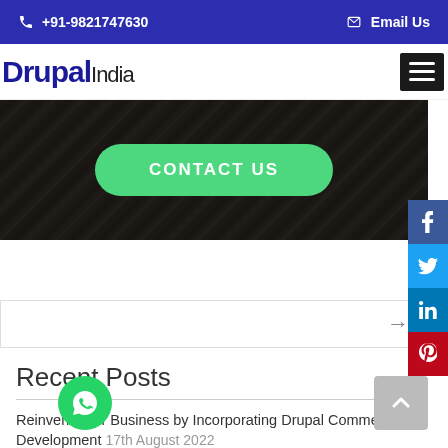+91-9821747630   Email Us
[Figure (logo): Drupal India logo with blue bold text and hamburger menu icon]
[Figure (photo): Dark hero image with green 'CONTACT US' button and social media sidebar (Facebook, Twitter, LinkedIn, Pinterest)]
[Figure (screenshot): Navigation arrow row with right arrow]
Recent Posts
Reinvent Your Business by Incorporating Drupal Commerce Development 17th August 2022
How Web Development Can Help You Fortify Your